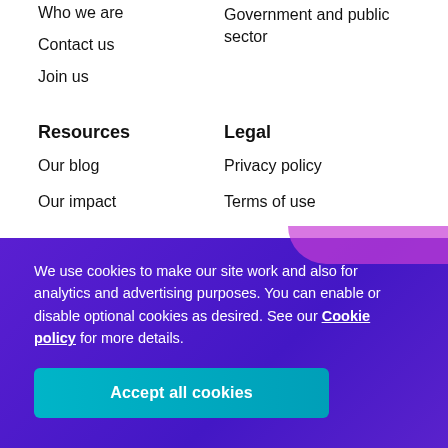Who we are
Government and public sector
Contact us
Join us
Resources
Legal
Our blog
Privacy policy
Our impact
Terms of use
We use cookies to make our site work and also for analytics and advertising purposes. You can enable or disable optional cookies as desired. See our Cookie policy for more details.
Accept all cookies